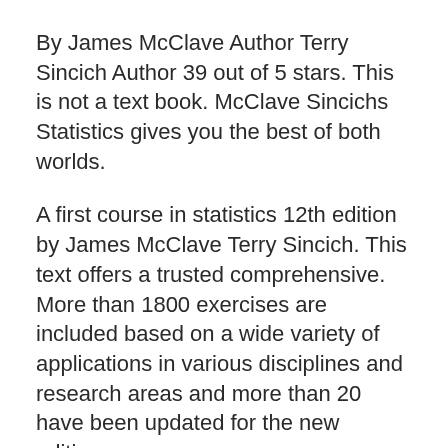By James McClave Author Terry Sincich Author 39 out of 5 stars. This is not a text book. McClave Sincichs Statistics gives you the best of both worlds.
A first course in statistics 12th edition by James McClave Terry Sincich. This text offers a trusted comprehensive. More than 1800 exercises are included based on a wide variety of applications in various disciplines and research areas and more than 20 have been updated for the new edition.
Review of Medical Microbiology and Immunology 15E. First Course in Statistics A 11th Edition. 9780321783431 9780321828224 9780321849298